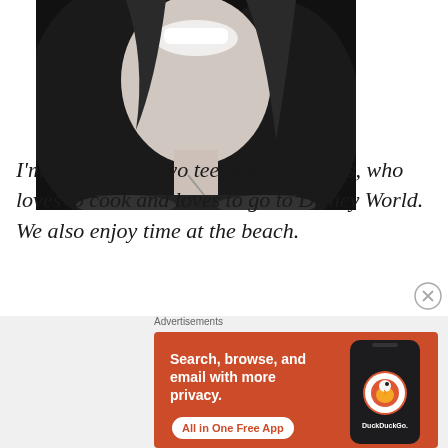[Figure (photo): Black and white close-up photo of a smiling woman with long wavy dark hair and a bar pendant necklace]
I'm a mother of two teenage daughters, who loves to cook and loves to go to Disney World.  We also enjoy time at the beach.
Advertisements
[Figure (screenshot): DuckDuckGo advertisement: orange banner with text 'Search, browse, and email with more privacy. All in One Free App' alongside a smartphone showing the DuckDuckGo logo]